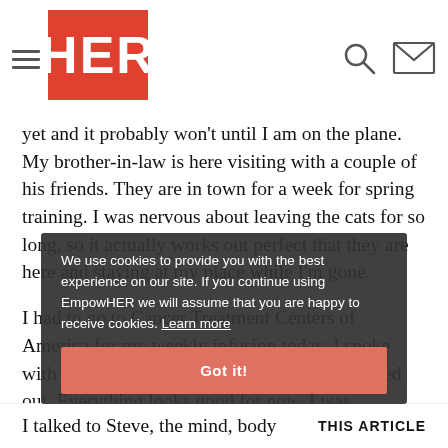HER (EmpowHER logo)
yet and it probably won't until I am on the plane. My brother-in-law is here visiting with a couple of his friends. They are in town for a week for spring training. I was nervous about leaving the cats for so long, so it actually works out perfect that they are here and staying at my place while I'm gone.
I had to go to Cancer Treatment Centers of America for my weekly infusion today. I spoke with the doctors and had my bloodwork checked out. Everything looks good for now. I was supposed to go out tonight for Cathy's birthday, but I was so exhausted from the infusion I ended up staying home. It always knocks me out! I think it's that IV benadryl that they give me with the infusion. I don't mind though because I actually go into this deep sleep for an hour during the infusion.
We use cookies to provide you with the best experience on our site. If you continue using EmpowHER we will assume that you are happy to receive cookies. Learn more
Got it!
I talked to Steve, the mind, body
THIS ARTICLE